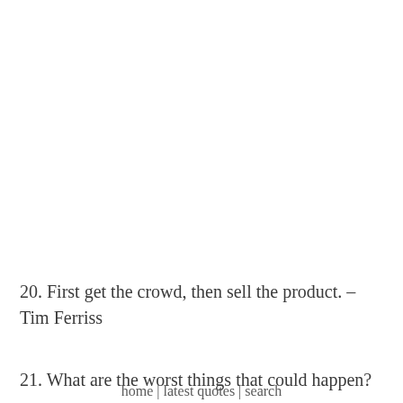20. First get the crowd, then sell the product. – Tim Ferriss
21. What are the worst things that could happen? –
home | latest quotes | search